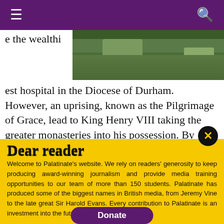≡  [hamburger menu]  [search icon]
[Figure (photo): Partial view of a garden or outdoor stone pathway with steps and greenery, visible in the top right portion of the page.]
e the wealthiest hospital in the Diocese of Durham. However, an uprising, known as the Pilgrimage of Grace, lead to King Henry VIII taking the greater monasteries into his possession. By early 1538 St Cuthbert's Shrine at Durham Cathedral was pulled down and its treasures removed. After
Dear reader
Welcome to Palatinate's website. We rely on readers' generosity to keep producing award-winning journalism and provide media training opportunities to our team of more than 150 students. Palatinate has produced some of the biggest names in British media, from Jeremy Vine to the late great Sir Harold Evans. Every contribution to Palatinate is an investment into the future of journalism.
Donate